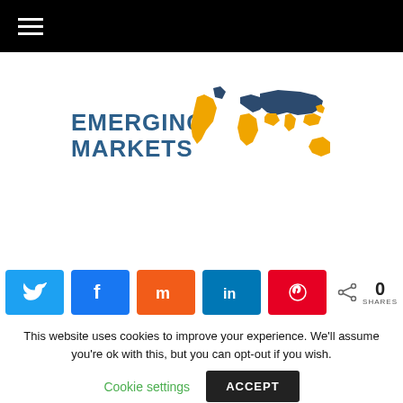[Figure (logo): Emerging Markets logo with world map graphic in gold/yellow and dark blue, text reads EMERGING MARKETS]
[Figure (infographic): Social share bar with Twitter (blue), Facebook (blue), Mix (orange), LinkedIn (dark blue), Pinterest (red) buttons and share count showing 0 SHARES]
This website uses cookies to improve your experience. We'll assume you're ok with this, but you can opt-out if you wish.
Cookie settings  ACCEPT